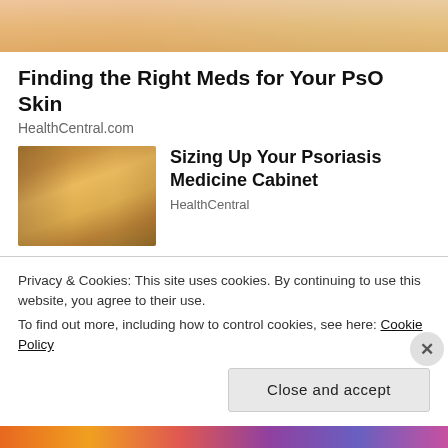[Figure (photo): Top cropped image of hands, pinkish/greenish background]
Finding the Right Meds for Your PsO Skin
HealthCentral.com
[Figure (photo): Woman shopping in pharmacy aisle, colorful store shelves]
Sizing Up Your Psoriasis Medicine Cabinet
HealthCentral
[Figure (photo): Black and white photo of older woman looking surprised or confused]
Boomer Skills That Are Completely Useless Today
Privacy & Cookies: This site uses cookies. By continuing to use this website, you agree to their use.
To find out more, including how to control cookies, see here: Cookie Policy
Close and accept